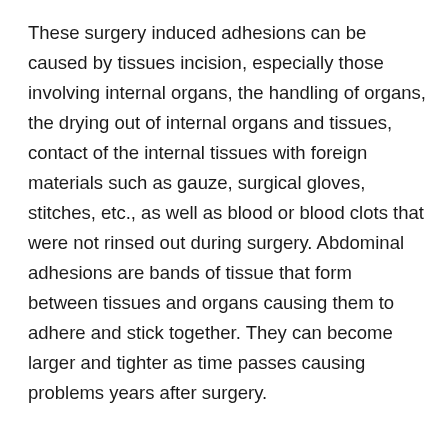These surgery induced adhesions can be caused by tissues incision, especially those involving internal organs, the handling of organs, the drying out of internal organs and tissues, contact of the internal tissues with foreign materials such as gauze, surgical gloves, stitches, etc., as well as blood or blood clots that were not rinsed out during surgery. Abdominal adhesions are bands of tissue that form between tissues and organs causing them to adhere and stick together. They can become larger and tighter as time passes causing problems years after surgery.